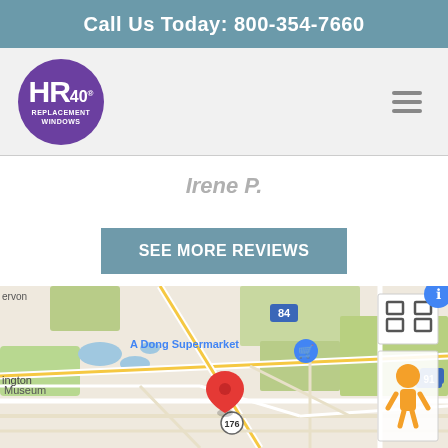Call Us Today: 800-354-7660
[Figure (logo): HR40 Replacement Windows circular purple logo]
Irene P.
SEE MORE REVIEWS
[Figure (map): Google Maps view showing location near A Dong Supermarket and Cedar Hill Center, Hartford CT area, with red pin on route 176]
GET AN ESTIMATE
SERVICES AVAILABLE